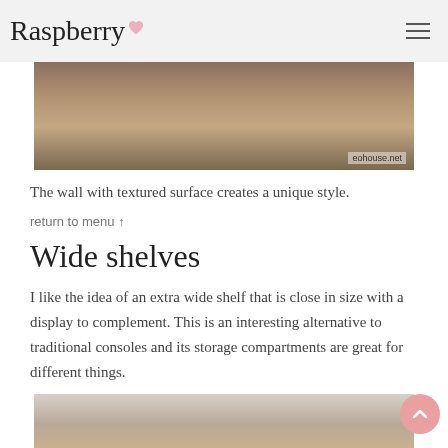Raspberry
[Figure (photo): Bedroom interior with textured wall, wooden floor, and dark plaid blanket. Watermark reads eohouse.net]
The wall with textured surface creates a unique style.
return to menu ↑
Wide shelves
I like the idea of an extra wide shelf that is close in size with a display to complement. This is an interesting alternative to traditional consoles and its storage compartments are great for different things.
[Figure (photo): Interior room with bookshelves filled with books on the right and a hanging light fixture in the center.]